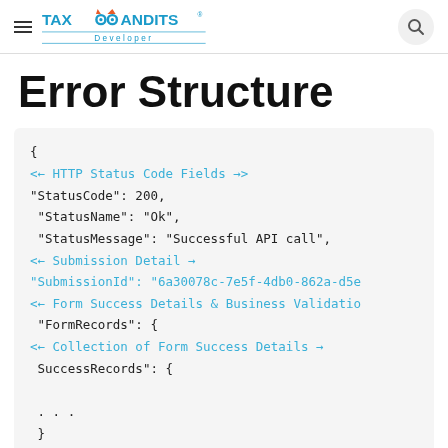TaxBandits Developer
Error Structure
{
<← HTTP Status Code Fields →>
"StatusCode": 200,
  "StatusName": "Ok",
  "StatusMessage": "Successful API call",
<← Submission Detail →>
"SubmissionId": "6a30078c-7e5f-4db0-862a-d5e
<← Form Success Details & Business Validatio
  "FormRecords": {
<← Collection of Form Success Details →>
  SuccessRecords": {
  . . .
  }